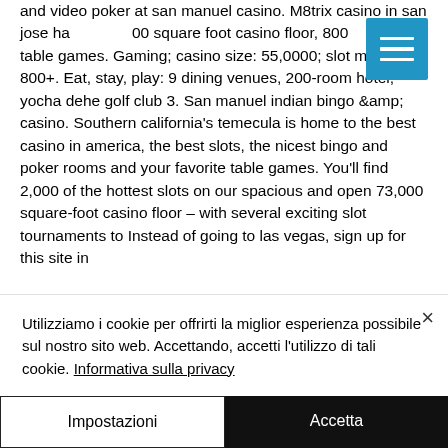and video poker at san manuel casino. M8trix casino in san jose has 00 square foot casino floor, 800 and 40 table games. Gaming; casino size: 55,0000; slot machines: 800+. Eat, stay, play: 9 dining venues, 200-room hotel, yocha dehe golf club 3. San manuel indian bingo &amp; casino. Southern california's temecula is home to the best casino in america, the best slots, the nicest bingo and poker rooms and your favorite table games. You'll find 2,000 of the hottest slots on our spacious and open 73,000 square-foot casino floor – with several exciting slot tournaments to Instead of going to las vegas, sign up for this site in
[Figure (other): Blue hamburger menu button (three white horizontal lines on blue square background)]
Utilizziamo i cookie per offrirti la miglior esperienza possibile sul nostro sito web. Accettando, accetti l'utilizzo di tali cookie. Informativa sulla privacy
Impostazioni
Accetta